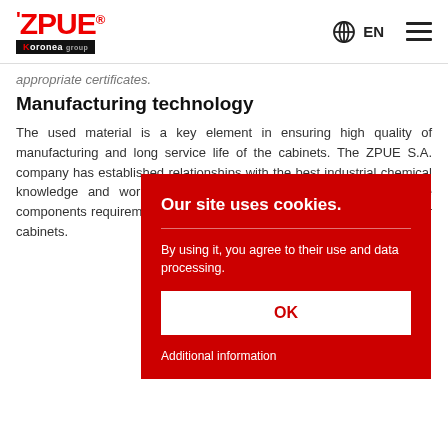ZPUE Koronea — EN navigation header
appropriate certificates.
Manufacturing technology
The used material is a key element in ensuring high quality of manufacturing and long service life of the cabinets. The ZPUE S.A. company has established relationships with the best industrial chemical knowledge and working in the field material used for t multiple components requirements of restricting the ha material, which gu of our cabinets.
[Figure (screenshot): Cookie consent overlay popup with red background. Title: 'Our site uses cookies.' Body text: 'By using it, you agree to their use and data processing.' White OK button and 'Additional information' link.]
Area of application